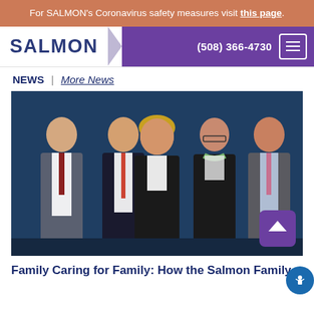For SALMON's Coronavirus safety measures visit this page.
[Figure (logo): SALMON organization logo and navigation bar with phone number (508) 366-4730 and hamburger menu button]
NEWS | More News
[Figure (photo): Group photo of five people (three men and two women) dressed in business attire standing in front of a dark blue background]
Family Caring for Family: How the Salmon Family